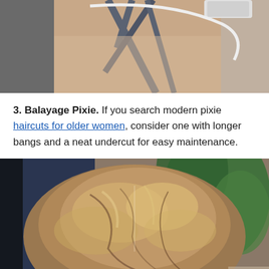[Figure (photo): Photo of a person's back showing shoulder area with gray crossed straps of a top/swimsuit]
3. Balayage Pixie. If you search modern pixie haircuts for older women, consider one with longer bangs and a neat undercut for easy maintenance.
[Figure (photo): Top-down view of a woman's balayage pixie haircut showing blonde and brown highlights, with green foliage in the background]